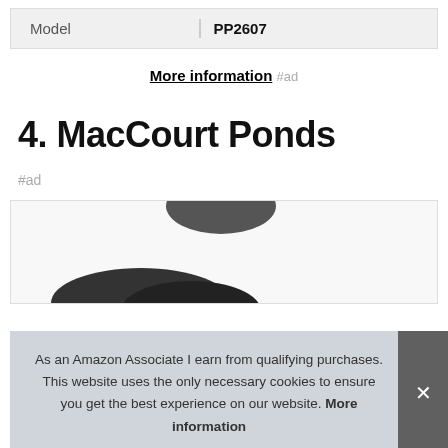| Model | PP2607 |
| --- | --- |
More information #ad
4. MacCourt Ponds
#ad
[Figure (photo): Product image partially visible]
As an Amazon Associate I earn from qualifying purchases. This website uses the only necessary cookies to ensure you get the best experience on our website. More information